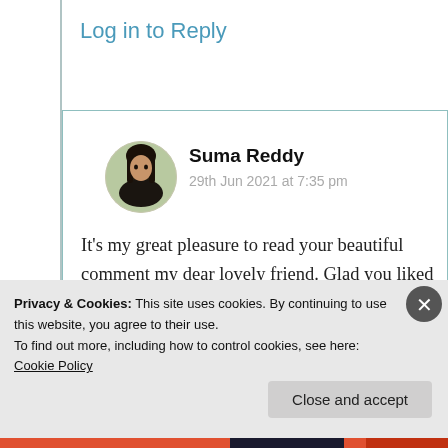Log in to Reply
[Figure (photo): Circular avatar photo of Suma Reddy]
Suma Reddy
29th Jun 2021 at 7:35 pm
It’s my great pleasure to read your beautiful comment my dear lovely friend. Glad you liked those highlights I am very much happy to see you
Privacy & Cookies: This site uses cookies. By continuing to use this website, you agree to their use.
To find out more, including how to control cookies, see here: Cookie Policy
Close and accept